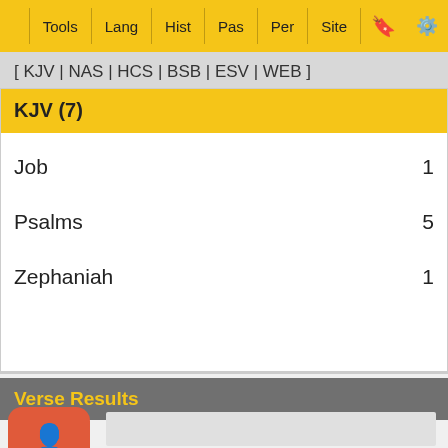Tools | Lang | Hist | Pas | Per | Site
[ KJV | NAS | HCS | BSB | ESV | WEB ]
KJV (7)
Job   1
Psalms   5
Zephaniah   1
Verse Results
Ads Free